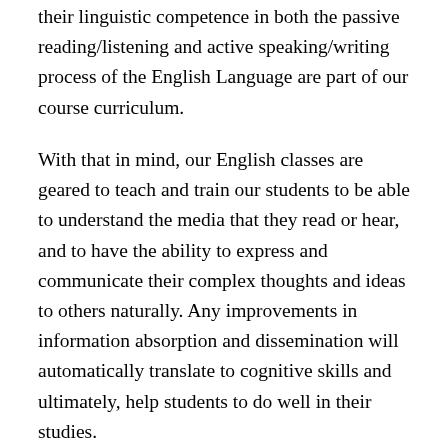their linguistic competence in both the passive reading/listening and active speaking/writing process of the English Language are part of our course curriculum.
With that in mind, our English classes are geared to teach and train our students to be able to understand the media that they read or hear, and to have the ability to express and communicate their complex thoughts and ideas to others naturally. Any improvements in information absorption and dissemination will automatically translate to cognitive skills and ultimately, help students to do well in their studies.
English should be treated as our native language, to be the main Lingua franca for a cosmopolitan Singapore where over generations, English has been